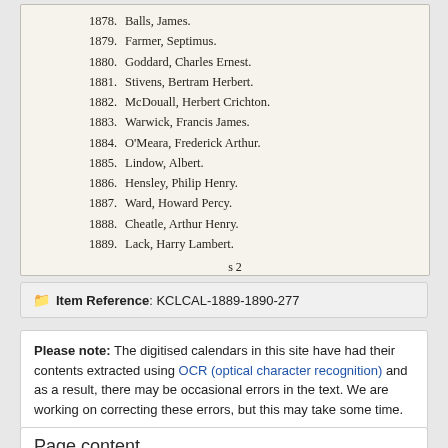[Figure (photo): Scanned page from a historical calendar listing names and years from 1878 to 1889, with a footer 's 2']
Item Reference: KCLCAL-1889-1890-277
Please note: The digitised calendars in this site have had their contents extracted using OCR (optical character recognition) and as a result, there may be occasional errors in the text. We are working on correcting these errors, but this may take some time.
Page content